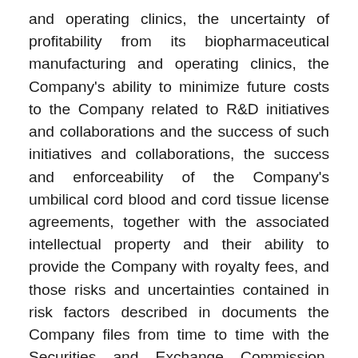and operating clinics, the uncertainty of profitability from its biopharmaceutical manufacturing and operating clinics, the Company's ability to minimize future costs to the Company related to R&D initiatives and collaborations and the success of such initiatives and collaborations, the success and enforceability of the Company's umbilical cord blood and cord tissue license agreements, together with the associated intellectual property and their ability to provide the Company with royalty fees, and those risks and uncertainties contained in risk factors described in documents the Company files from time to time with the Securities and Exchange Commission, including the most recent Annual Report on Form 10-K, Quarterly Reports on Form